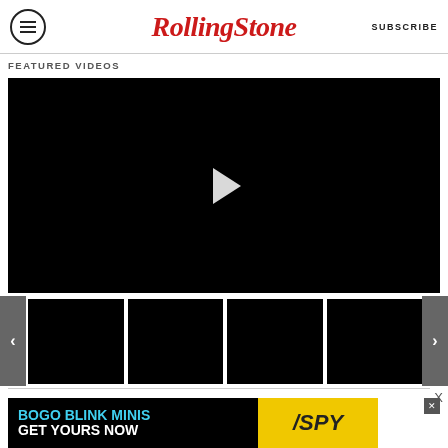Rolling Stone | SUBSCRIBE
FEATURED VIDEOS
[Figure (other): Main video player with black background and white play button triangle in center]
[Figure (other): Thumbnail carousel row with left/right navigation arrows and four black video thumbnails]
[Figure (other): Advertisement banner: 'BOGO BLINK MINIS GET YOURS NOW' with SPY logo on yellow background]